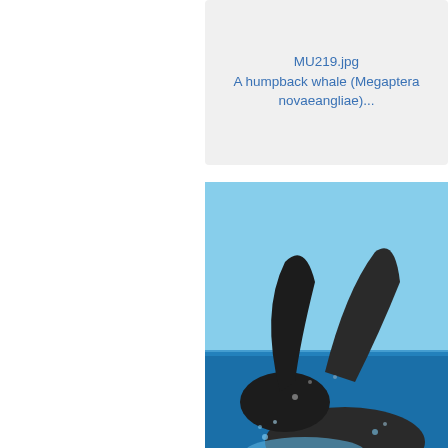MU219.jpg
A humpback whale (Megaptera novaeangliae)...
[Figure (photo): A humpback whale breaching the ocean surface, showing its large body and flippers against a blue sky.]
MU221.jpg
A humpback whale (Megaptera novaeangliae)...
[Figure (photo): An underwater view showing two humpback whales and a diver swimming in deep blue ocean water.]